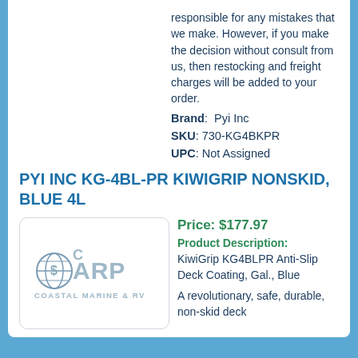responsible for any mistakes that we make. However, if you make the decision without consult from us, then restocking and freight charges will be added to your order.
Brand:  Pyi Inc
SKU: 730-KG4BKPR
UPC: Not Assigned
PYI INC KG-4BL-PR KIWIGRIP NONSKID, BLUE 4L
[Figure (logo): Coastal Marine & RV logo with globe icon and text CARP COASTAL MARINE & RV]
Price: $177.97
Product Description: KiwiGrip KG4BLPR Anti-Slip Deck Coating, Gal., Blue
A revolutionary, safe, durable, non-skid deck